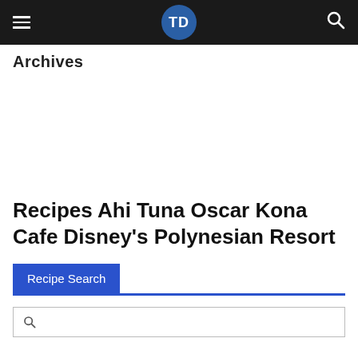TD (logo) — navigation bar with hamburger menu and search icon
Archives
Recipes Ahi Tuna Oscar Kona Cafe Disney's Polynesian Resort
Recipe Search
(search input field)